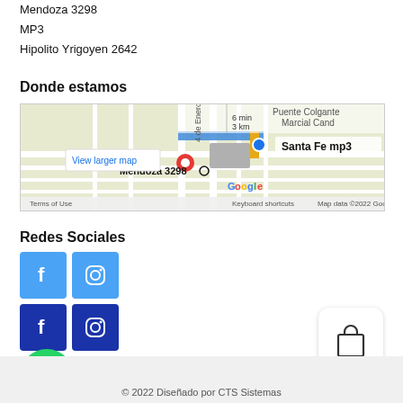Mendoza 3298
MP3
Hipolito Yrigoyen 2642
Donde estamos
[Figure (map): Google Maps screenshot showing Mendoza 3298 location with Santa Fe mp3 label, View larger map link, keyboard shortcuts and map data 2022 Google notice]
Redes Sociales
[Figure (infographic): Social media icons: light blue Facebook, light blue Instagram (row 1); dark blue Facebook, dark blue Instagram (row 2); green WhatsApp circle button]
[Figure (illustration): Shopping bag / cart icon in white rounded square box]
© 2022 Diseñado por CTS Sistemas